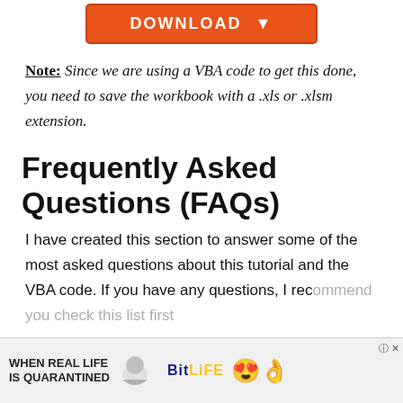[Figure (other): Orange download button with white bold text 'DOWNLOAD' and a down-arrow icon]
Note: Since we are using a VBA code to get this done, you need to save the workbook with a .xls or .xlsm extension.
Frequently Asked Questions (FAQs)
I have created this section to answer some of the most asked questions about this tutorial and the VBA code. If you have any questions, I rec... first...
[Figure (other): Advertisement banner: 'WHEN REAL LIFE IS QUARANTINED' with BitLife logo and emoji characters]